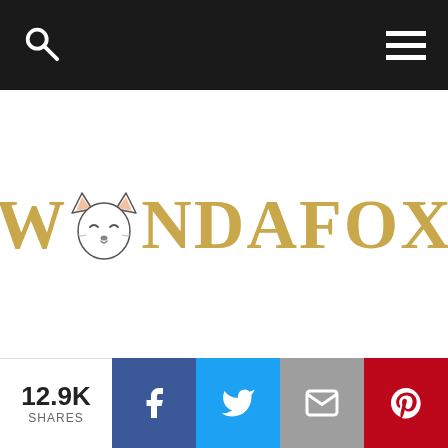Navigation bar with search and menu icons
[Figure (logo): WondaFox logo: gold bold serif text spelling WONDAFOX with a fox face illustration replacing the letter O]
12.9K SHARES
[Figure (infographic): Social share buttons: Facebook (blue), Twitter (light blue), Email (grey), Pinterest (red)]